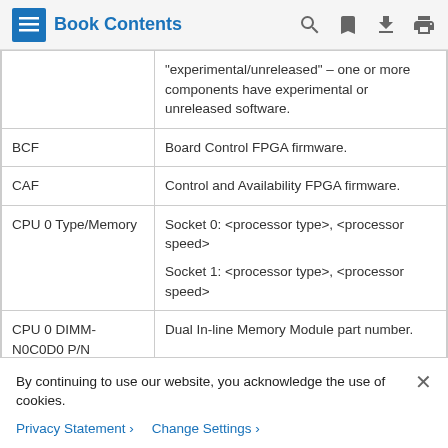Book Contents
|  | "experimental/unreleased" – one or more components have experimental or unreleased software. |
| BCF | Board Control FPGA firmware. |
| CAF | Control and Availability FPGA firmware. |
| CPU 0 Type/Memory | Socket 0: <processor type>, <processor speed>
Socket 1: <processor type>, <processor speed> |
| CPU 0 DIMM-N0C0D0 P/N | Dual In-line Memory Module part number. |
By continuing to use our website, you acknowledge the use of cookies.
Privacy Statement > Change Settings >